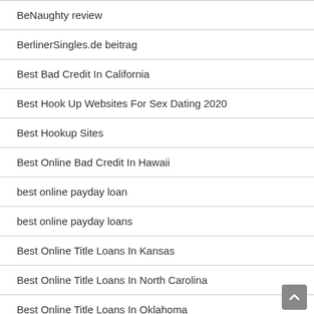BeNaughty review
BerlinerSingles.de beitrag
Best Bad Credit In California
Best Hook Up Websites For Sex Dating 2020
Best Hookup Sites
Best Online Bad Credit In Hawaii
best online payday loan
best online payday loans
Best Online Title Loans In Kansas
Best Online Title Loans In North Carolina
Best Online Title Loans In Oklahoma
best payday loan